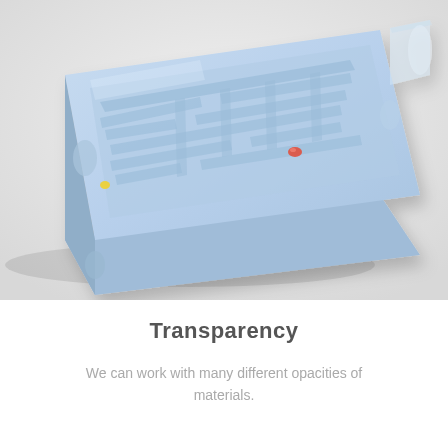[Figure (photo): A light blue translucent maze/labyrinth puzzle toy photographed at an angle on a light grey background. The plastic tray has a maze pattern with channels and walls, and a small red ball visible inside. The top-right corner shows a transparent handle or flap.]
Transparency
We can work with many different opacities of materials.